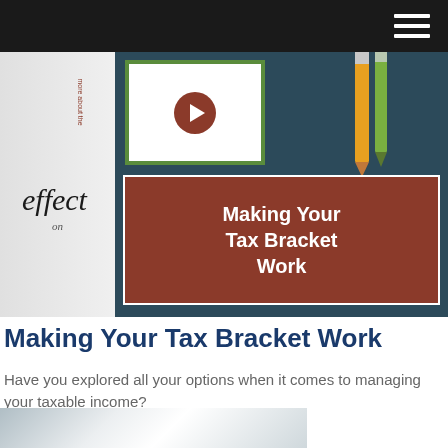[Figure (screenshot): Top navigation bar with dark background and hamburger menu icon in the top right corner]
[Figure (photo): Hero image split into two panels: left panel shows rotated 'INVESTMENT' text and italic 'effect' text on light gray background; right panel shows a video thumbnail with play button and pencils on dark blue-gray background, with a brown box titled 'Making Your Tax Bracket Work']
Making Your Tax Bracket Work
Have you explored all your options when it comes to managing your taxable income?
[Figure (photo): Bottom partial image showing light gray and white angled surfaces, partially cropped]